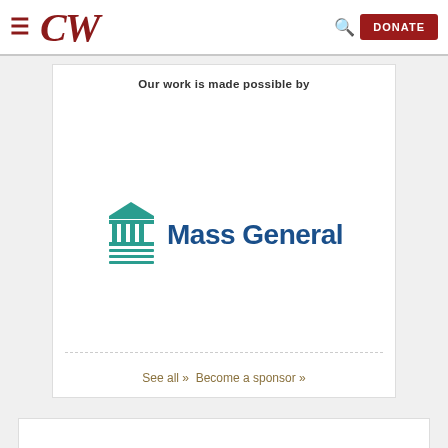CW | DONATE
Our work is made possible by
[Figure (logo): Mass General Brigham logo with teal institutional building icon and blue sans-serif wordmark]
See all » Become a sponsor »